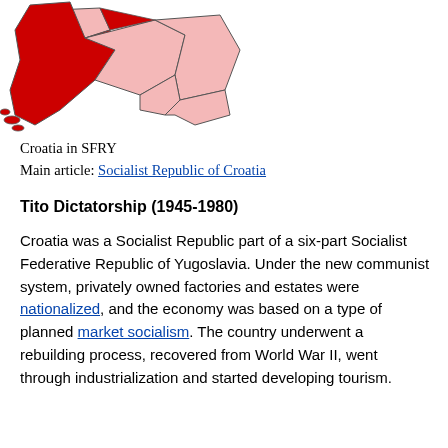[Figure (map): Map showing Croatia highlighted in red within the Socialist Federal Republic of Yugoslavia (SFRY), with other republics shown in light pink]
Croatia in SFRY
Main article: Socialist Republic of Croatia
Tito Dictatorship (1945-1980)
Croatia was a Socialist Republic part of a six-part Socialist Federative Republic of Yugoslavia. Under the new communist system, privately owned factories and estates were nationalized, and the economy was based on a type of planned market socialism. The country underwent a rebuilding process, recovered from World War II, went through industrialization and started developing tourism.